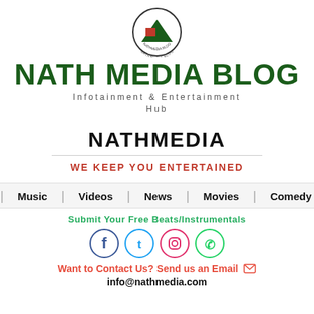[Figure (logo): Nath Media Blog circular logo with red and green design and 'NATHMEDIA BLOG' text around the bottom]
NATH MEDIA BLOG
Infotainment & Entertainment Hub
NATHMEDIA
WE KEEP YOU ENTERTAINED
Home | Music | Videos | News | Movies | Comedy | Co...
Submit Your Free Beats/Instrumentals
[Figure (illustration): Social media icons: Facebook (blue), Twitter (cyan), Instagram (gradient pink/orange), WhatsApp (green)]
Want to Contact Us? Send us an Email
info@nathmedia.com